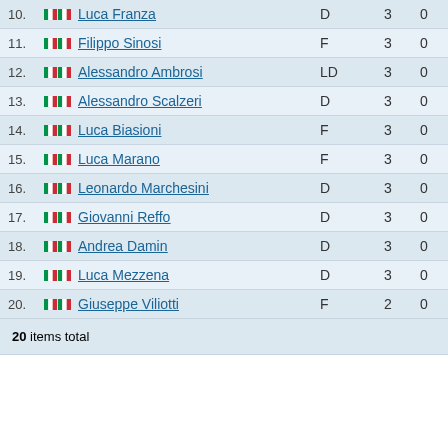| # | Name | Pos | Apps | Goals |
| --- | --- | --- | --- | --- |
| 10. | Luca Franza | D | 3 | 0 |
| 11. | Filippo Sinosi | F | 3 | 0 |
| 12. | Alessandro Ambrosi | LD | 3 | 0 |
| 13. | Alessandro Scalzeri | D | 3 | 0 |
| 14. | Luca Biasioni | F | 3 | 0 |
| 15. | Luca Marano | F | 3 | 0 |
| 16. | Leonardo Marchesini | D | 3 | 0 |
| 17. | Giovanni Reffo | D | 3 | 0 |
| 18. | Andrea Damin | D | 3 | 0 |
| 19. | Luca Mezzena | D | 3 | 0 |
| 20. | Giuseppe Viliotti | F | 2 | 0 |
20 items total